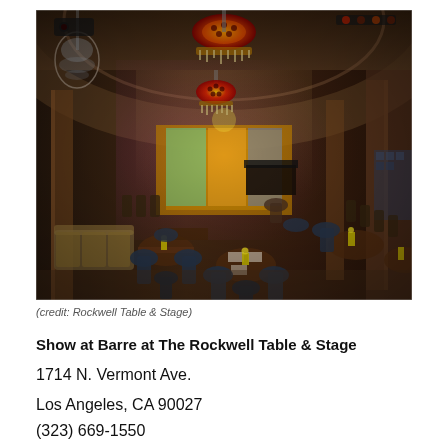[Figure (photo): Interior of Rockwell Table & Stage restaurant/venue showing dining tables with dark wood chairs, colorful hanging chandeliers with red and yellow patterned lampshades, a stage area in the background with a piano and colorful artwork, arched ceiling, and ambient lighting.]
(credit: Rockwell Table & Stage)
Show at Barre at The Rockwell Table & Stage
1714 N. Vermont Ave.
Los Angeles, CA 90027
(323) 669-1550